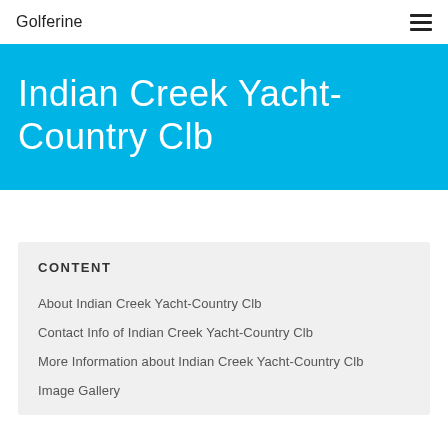Golferine
Indian Creek Yacht-Country Clb
CONTENT
About Indian Creek Yacht-Country Clb
Contact Info of Indian Creek Yacht-Country Clb
More Information about Indian Creek Yacht-Country Clb
Image Gallery